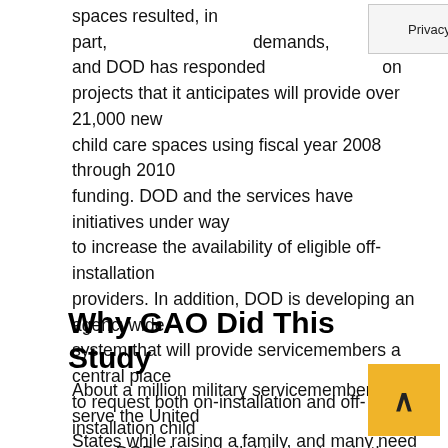spaces resulted, in part, [Privacy & Cookies Policy overlay] demands, and DOD has responded by approving construction projects that it anticipates will provide over 21,000 new child care spaces using fiscal year 2008 through 2010 funding. DOD and the services have initiatives under way to increase the availability of eligible off-installation providers. In addition, DOD is developing an agencywide system that will provide servicemembers a central place to request both on-installation and off-installation child care. DOD plans to pilot the system in the spring of 2012 and intends to market it DOD-wide to servicemembers once it is fully implemented. The agency is in the process of contracting for the development of a marketing plan.
Why GAO Did This Study
About a million military servicemembers serve the United States while raising a family, and many need reliable affordable child care. Paying for high-quality child care can be challenging for these families, so the Department of Defense (DOD) affects costs by subsidizing on...